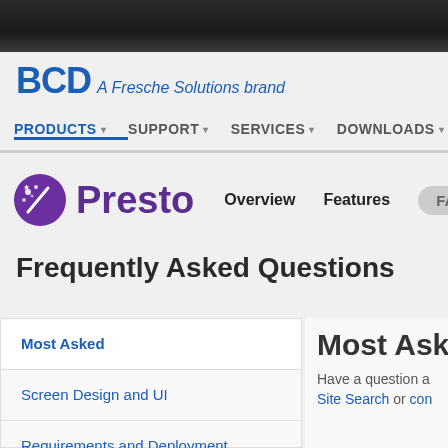[Figure (logo): BCD - A Fresche Solutions brand logo in blue]
PRODUCTS ▾   SUPPORT ▾   SERVICES ▾   DOWNLOADS ▾
[Figure (logo): Presto product logo - purple circle with stars and wand icon, followed by Presto text in purple, with Overview, Features, and FAQ navigation]
Frequently Asked Questions
Most Asked
Screen Design and UI
Requirements and Deployment
Most Aske
Have a question a... Site Search or con...